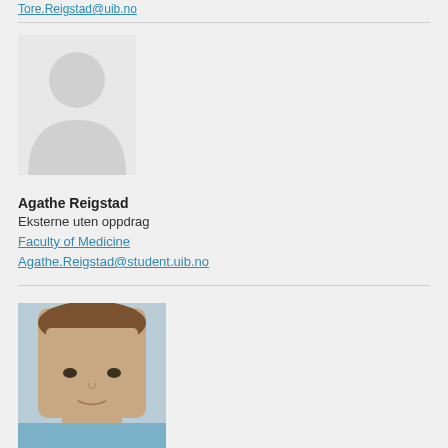Tore.Reigstad@uib.no
[Figure (illustration): Default user silhouette avatar placeholder (grey person icon on light grey background)]
Agathe Reigstad
Eksterne uten oppdrag
Faculty of Medicine
Agathe.Reigstad@student.uib.no
[Figure (photo): Partial photo of a man with brown hair, photographed outdoors near water, cropped at the bottom of the page]